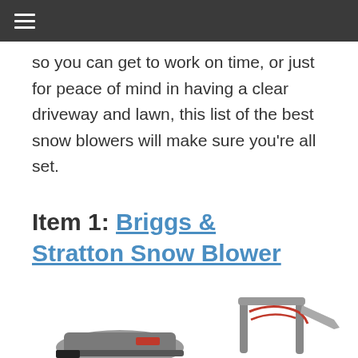☰
so you can get to work on time, or just for peace of mind in having a clear driveway and lawn, this list of the best snow blowers will make sure you're all set.
Item 1: Briggs & Stratton Snow Blower
[Figure (photo): Bottom portion of a Briggs & Stratton snow blower product image, showing the auger/intake area and handlebar assembly in silver/gray with red and black accents.]